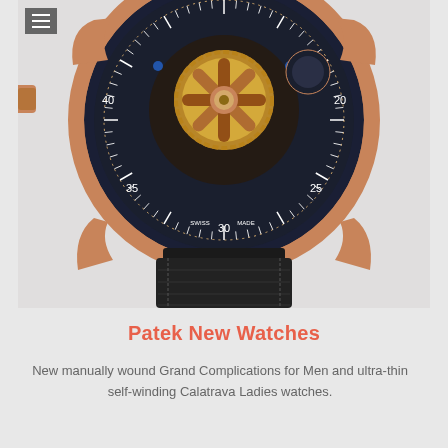[Figure (photo): Close-up photo of a luxury skeleton watch with rose gold case, exposed mechanical movement with gold gear visible, dark navy dial with minute markers showing 25, 30, 35, 40 and 'SWISS MADE' text, and black leather crocodile-pattern strap. The watch case lugs and partial strap are visible against a light background.]
Patek New Watches
New manually wound Grand Complications for Men and ultra-thin self-winding Calatrava Ladies watches.